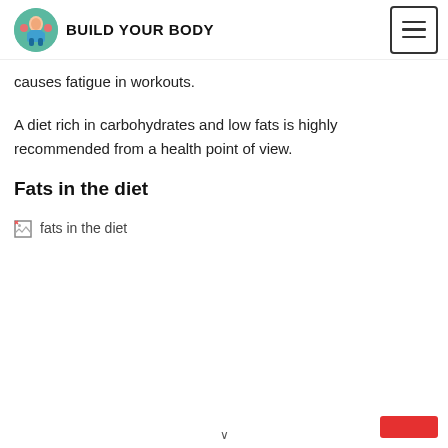BUILD YOUR BODY
causes fatigue in workouts.
A diet rich in carbohydrates and low fats is highly recommended from a health point of view.
Fats in the diet
[Figure (photo): Broken image placeholder with alt text 'fats in the diet']